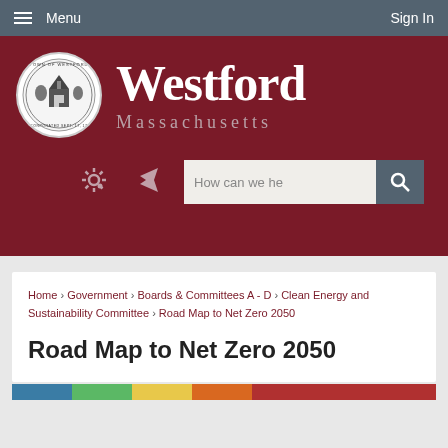Menu  Sign In
[Figure (logo): Town of Westford seal and name banner with dark red background showing 'Westford Massachusetts']
Home › Government › Boards & Committees A - D › Clean Energy and Sustainability Committee › Road Map to Net Zero 2050
Road Map to Net Zero 2050